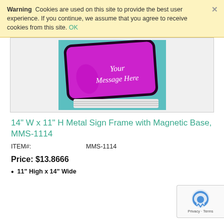Warning  Cookies are used on this site to provide the best user experience. If you continue, we assume that you agree to receive cookies from this site. OK
[Figure (photo): A magenta/pink metal sign frame with rounded corners displayed at an angle on a white stand against a teal background. The sign reads 'Your Message Here' in white italic script.]
14" W x 11" H Metal Sign Frame with Magnetic Base, MMS-1114
ITEM#:    MMS-1114
Price: $13.8666
11" High x 14" Wide